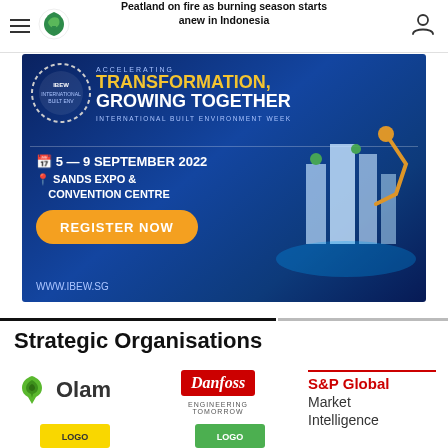Peatland on fire as burning season starts anew in Indonesia
[Figure (screenshot): IBEW advertisement banner: TRANSFORMATION, GROWING TOGETHER - International Built Environment Week. 5-9 September 2022, Sands Expo & Convention Centre. Register Now. www.ibew.sg]
Strategic Organisations
[Figure (logo): Olam logo - green leaf icon with 'Olam' text]
[Figure (logo): Danfoss logo - red background with Danfoss script and 'Engineering Tomorrow' tagline]
[Figure (logo): S&P Global Market Intelligence logo]
[Figure (logo): Partially visible logo bottom left]
[Figure (logo): Partially visible logo bottom center]